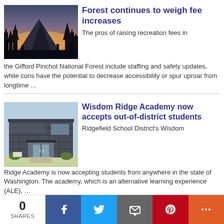[Figure (photo): Sunset photo of a mountain and forest with silhouetted pine trees in foreground]
Forest continues to weigh fee increases
The pros of raising recreation fees in the Gifford Pinchot National Forest include staffing and safety updates, while cons have the potential to decrease accessibility or spur uproar from longtime …
[Figure (photo): Exterior of Wisdom Ridge Academy building, a modern dark grey metal building with entrance doors and landscaping]
Wisdom Ridge Academy now accepts out-of-district students
Ridgefield School District's Wisdom Ridge Academy is now accepting students from anywhere in the state of Washington.  The academy, which is an alternative learning experience (ALE), …
More Local News ▶
0 SHARES